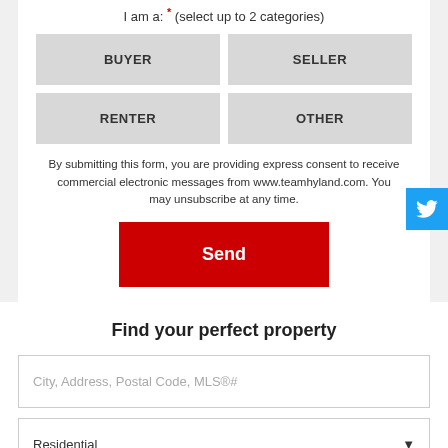I am a: * (select up to 2 categories)
BUYER
SELLER
RENTER
OTHER
By submitting this form, you are providing express consent to receive commercial electronic messages from www.teamhyland.com. You may unsubscribe at any time.
Send
Disclaimer
Find your perfect property
City, Address, Postal Code, MLS®#
Residential